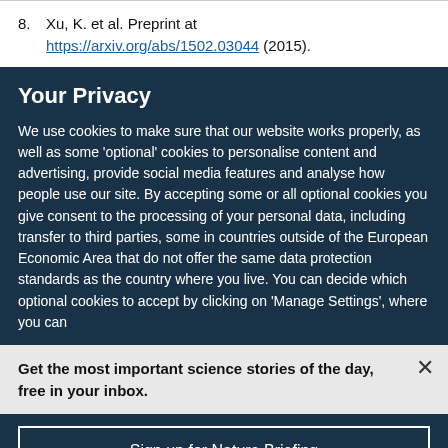8. Xu, K. et al. Preprint at https://arxiv.org/abs/1502.03044 (2015).
Your Privacy
We use cookies to make sure that our website works properly, as well as some ‘optional’ cookies to personalise content and advertising, provide social media features and analyse how people use our site. By accepting some or all optional cookies you give consent to the processing of your personal data, including transfer to third parties, some in countries outside of the European Economic Area that do not offer the same data protection standards as the country where you live. You can decide which optional cookies to accept by clicking on ‘Manage Settings’, where you can
Get the most important science stories of the day, free in your inbox.
Sign up for Nature Briefing